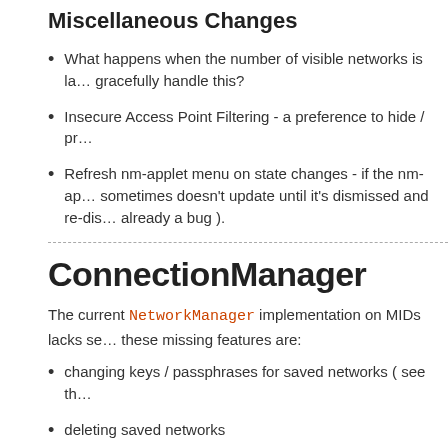Miscellaneous Changes
What happens when the number of visible networks is la... gracefully handle this?
Insecure Access Point Filtering - a preference to hide / pr...
Refresh nm-applet menu on state changes - if the nm-ap... sometimes doesn't update until it's dismissed and re-dis... already a bug ).
ConnectionManager
The current NetworkManager implementation on MIDs lacks se... these missing features are:
changing keys / passphrases for saved networks ( see th...
deleting saved networks
per-access point manual network settings
ConnectionManager is a new application that allows a user to m... some ways it's a replacement for Gnome's Manual Configuratio...
This first draft focuses on Wi-Fi and Ethernet. Subsequent revis...